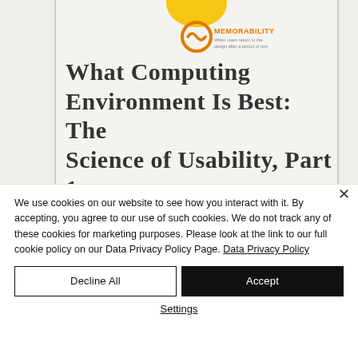[Figure (illustration): Book cover image showing a partial view with a yellow/orange memorability icon and label at the top, on a light beige background. The icon shows a circular symbol with the word MEMORABILITY in orange text and a subtitle beneath it.]
What Computing Environment Is Best: The Science of Usability, Part 1
We use cookies on our website to see how you interact with it. By accepting, you agree to our use of such cookies. We do not track any of these cookies for marketing purposes. Please look at the link to our full cookie policy on our Data Privacy Policy Page. Data Privacy Policy